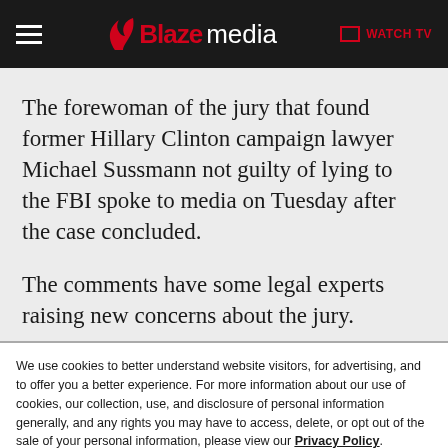Blaze media — WATCH TV
The forewoman of the jury that found former Hillary Clinton campaign lawyer Michael Sussmann not guilty of lying to the FBI spoke to media on Tuesday after the case concluded.
The comments have some legal experts raising new concerns about the jury.
We use cookies to better understand website visitors, for advertising, and to offer you a better experience. For more information about our use of cookies, our collection, use, and disclosure of personal information generally, and any rights you may have to access, delete, or opt out of the sale of your personal information, please view our Privacy Policy.
Learn more
CLOSE